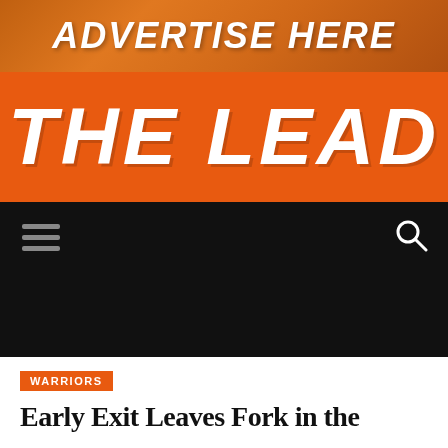[Figure (illustration): Ad banner with basketball imagery and text 'ADVERTISE HERE' in italic bold white letters on orange/brown background]
[Figure (logo): The Lead sports publication logo — large italic white bold text 'THE LEAD' on orange background]
Navigation bar with hamburger menu icon on left and search icon on right, black background
WARRIORS
Early Exit Leaves Fork in the